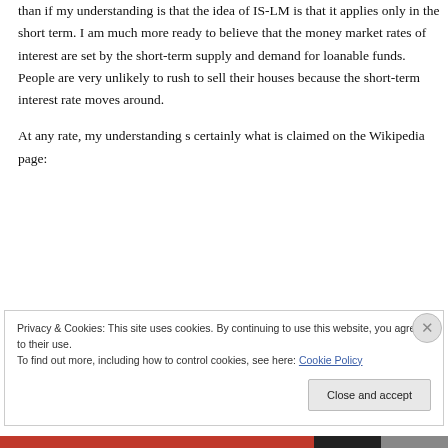than if my understanding is that the idea of IS-LM is that it applies only in the short term. I am much more ready to believe that the money market rates of interest are set by the short-term supply and demand for loanable funds. People are very unlikely to rush to sell their houses because the short-term interest rate moves around.
At any rate, my understanding s certainly what is claimed on the Wikipedia page:
Privacy & Cookies: This site uses cookies. By continuing to use this website, you agree to their use.
To find out more, including how to control cookies, see here: Cookie Policy